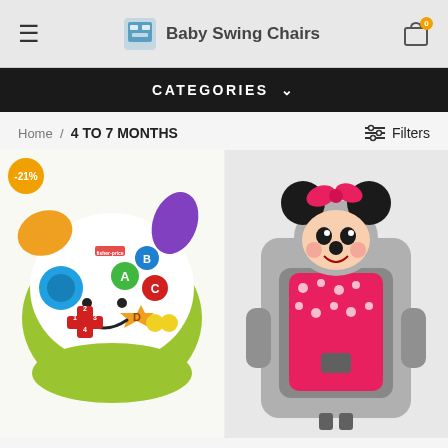Baby Swing Chairs
CATEGORIES
Home / 4 TO 7 MONTHS
[Figure (photo): Fisher-Price colorful game controller toy with smiley face, letters A B C D, numbers 1-4, with -21% discount badge]
[Figure (photo): Minnie Mouse themed baby car seat/booster seat in pink and gray]